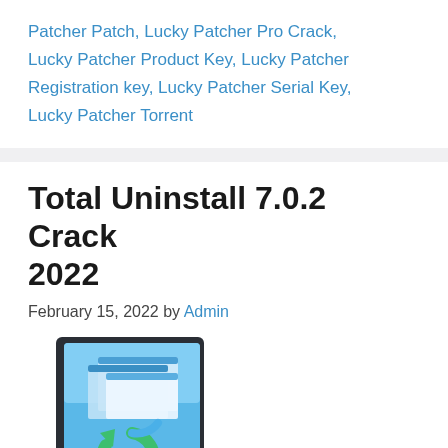Patcher Patch, Lucky Patcher Pro Crack, Lucky Patcher Product Key, Lucky Patcher Registration key, Lucky Patcher Serial Key, Lucky Patcher Torrent
Total Uninstall 7.0.2 Crack 2022
February 15, 2022 by Admin
[Figure (screenshot): Total Uninstall software box/icon showing stylized blue circular arrow with stacked windows on a dark box cover.]